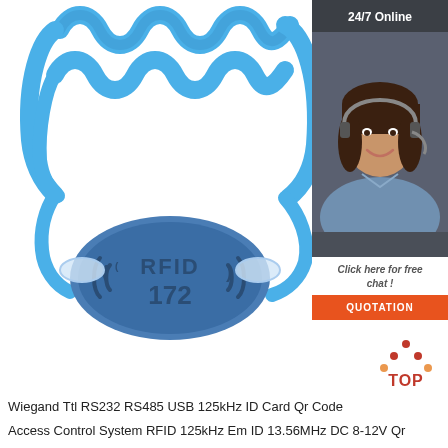[Figure (photo): RFID silicone wristband with blue wavy band and oval blue chip labeled ((RFID)) 172]
[Figure (photo): 24/7 Online customer service agent panel with dark header, woman with headset, 'Click here for free chat!' text, and orange QUOTATION button]
[Figure (logo): TOP logo with red/orange dots forming a triangle above the word TOP in red]
Wiegand Ttl RS232 RS485 USB 125kHz ID Card Qr Code
Access Control System RFID 125kHz Em ID 13.56MHz DC 8-12V Qr